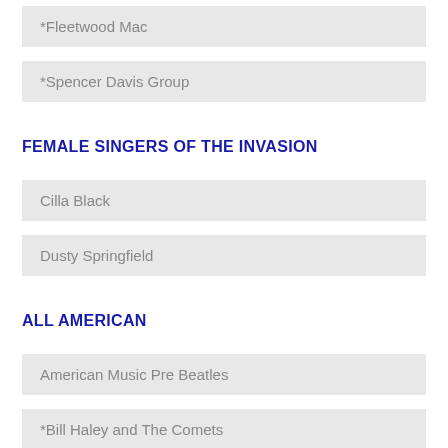*Fleetwood Mac
*Spencer Davis Group
FEMALE SINGERS OF THE INVASION
Cilla Black
Dusty Springfield
ALL AMERICAN
American Music Pre Beatles
*Bill Haley and The Comets